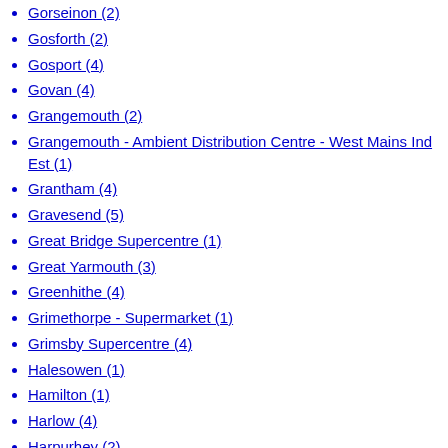Gorseinon (2)
Gosforth (2)
Gosport (4)
Govan (4)
Grangemouth (2)
Grangemouth - Ambient Distribution Centre - West Mains Ind Est (1)
Grantham (4)
Gravesend (5)
Great Bridge Supercentre (1)
Great Yarmouth (3)
Greenhithe (4)
Grimethorpe - Supermarket (1)
Grimsby Supercentre (4)
Halesowen (1)
Hamilton (1)
Harlow (4)
Harpurhey (2)
Harrogate (5)
Hartlepool (2)
Hatfield (6)
Havant Supercentre (6)
Hayes (1)
Hazel Grove - Supermarket (4)
Hemel Hempstead - Supermarket (3)
Hereford (1?)